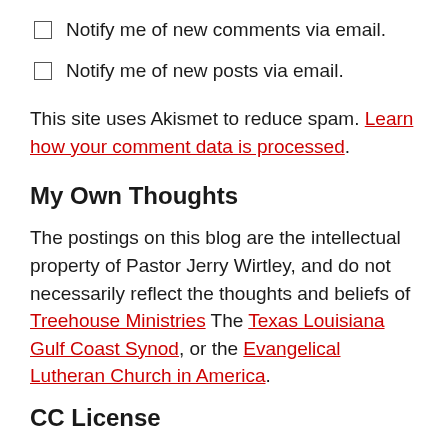Notify me of new comments via email.
Notify me of new posts via email.
This site uses Akismet to reduce spam. Learn how your comment data is processed.
My Own Thoughts
The postings on this blog are the intellectual property of Pastor Jerry Wirtley, and do not necessarily reflect the thoughts and beliefs of Treehouse Ministries The Texas Louisiana Gulf Coast Synod, or the Evangelical Lutheran Church in America.
CC License